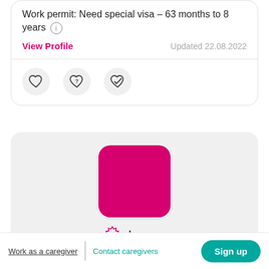Work permit: Need special visa – 63 months to 8 years
View Profile
Updated 22.08.2022
[Figure (infographic): Three circular icon buttons: heart (favorite), heart with question mark (maybe), heart with checkmark (contacted)]
[Figure (photo): Pink/magenta square profile photo placeholder for user karan]
karan
Male, India
Work as a caregiver | Contact caregivers  Sign up